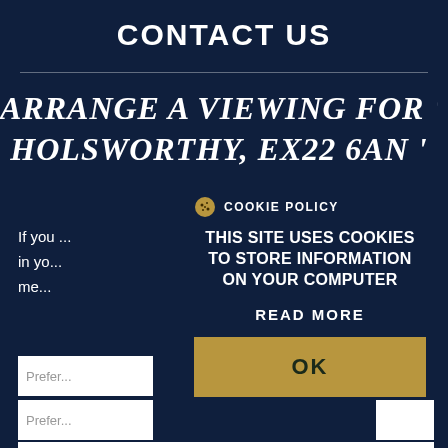CONTACT US
ARRANGE A VIEWING FOR 'HOLSWORTHY, EX22 6AN'
If you ... can fill in yo... nd a me... ou.
Prefer... Prefer...
[Figure (screenshot): Cookie policy popup overlay with cookie icon, title 'COOKIE POLICY', body text 'THIS SITE USES COOKIES TO STORE INFORMATION ON YOUR COMPUTER', a 'READ MORE' link, and a gold 'OK' button.]